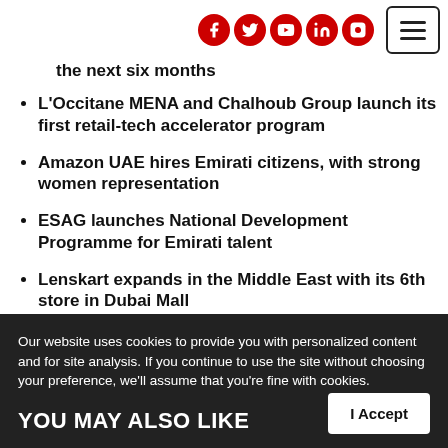Social media navigation icons and menu button
the next six months
L'Occitane MENA and Chalhoub Group launch its first retail-tech accelerator program
Amazon UAE hires Emirati citizens, with strong women representation
ESAG launches National Development Programme for Emirati talent
Lenskart expands in the Middle East with its 6th store in Dubai Mall
Our website uses cookies to provide you with personalized content and for site analysis. If you continue to use the site without choosing your preference, we'll assume that you're fine with cookies.
YOU MAY ALSO LIKE